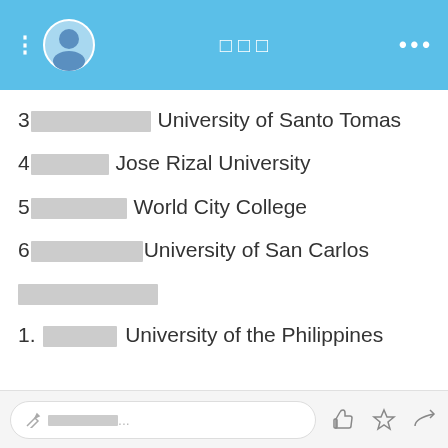□□□
3□□□□□□□ University of Santo Tomas
4□□□□□ Jose Rizal University
5□□□□□□□ World City College
6□□□□□□□□University of San Carlos
□□□□□□□□□□
1. □□□□□ University of the Philippines
✏ □□□□□...